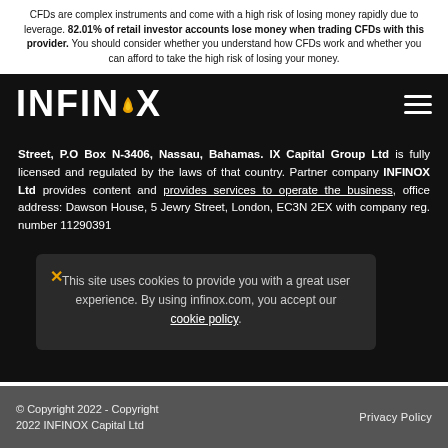CFDs are complex instruments and come with a high risk of losing money rapidly due to leverage. 82.01% of retail investor accounts lose money when trading CFDs with this provider. You should consider whether you understand how CFDs work and whether you can afford to take the high risk of losing your money.
[Figure (logo): INFINOX logo in white text on black background with orange flame replacing the O, and hamburger menu icon on the right]
Street, P.O Box N-3406, Nassau, Bahamas. IX Capital Group Ltd is fully licensed and regulated by the laws of that country. Partner company INFINOX Ltd provides content and provides services to operate the business, office address: Dawson House, 5 Jewry Street, London, EC3N 2EX with company reg. number 11290391
This site uses cookies to provide you with a great user experience. By using infinox.com, you accept our cookie policy.
© Copyright 2022 - Copyright 2022 INFINOX Capital Ltd    Privacy Policy